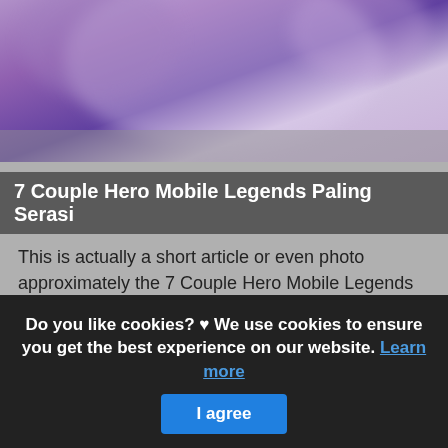[Figure (photo): Blurred purple/violet game character image at top of page]
7 Couple Hero Mobile Legends Paling Serasi
This is actually a short article or even photo approximately the 7 Couple Hero Mobile Legends Paling Serasi SerbaGratis95, if you prefer much a lot extra info approximately the write-up or even picture feel free to click on or even see the adhering to web link or even web link . (Read More)
Source: www.serbagratis95.site Visit Web
[Figure (photo): Dark blue/purple game screenshot at bottom of page]
Do you like cookies? ♥ We use cookies to ensure you get the best experience on our website. Learn more
I agree